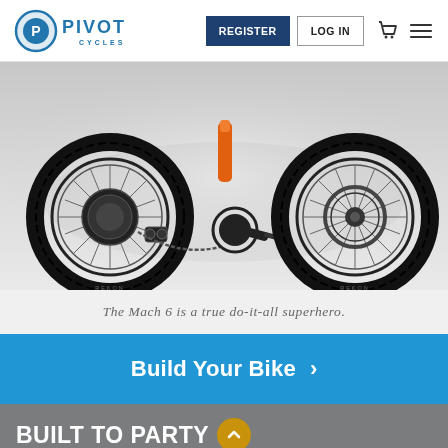[Figure (logo): Pivot Cycles logo — stylized circular icon with P and 'PIVOT CYCLES' wordmark in blue]
[Figure (photo): Close-up of a mountain bike (Mach 6) showing two wheels with knobby tires, drivetrain with chainring/cassette/derailleur, and orange rear shock, on a light grey background]
The Mach 6 is a true do-it-all superhero.
Build Your Bike >
BUILT TO PARTY
Our Race builds pair supremely durable Marzocchi